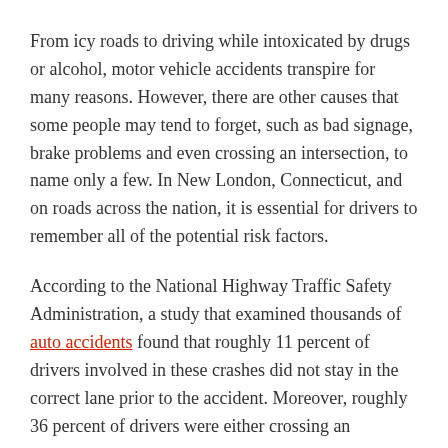From icy roads to driving while intoxicated by drugs or alcohol, motor vehicle accidents transpire for many reasons. However, there are other causes that some people may tend to forget, such as bad signage, brake problems and even crossing an intersection, to name only a few. In New London, Connecticut, and on roads across the nation, it is essential for drivers to remember all of the potential risk factors.
According to the National Highway Traffic Safety Administration, a study that examined thousands of auto accidents found that roughly 11 percent of drivers involved in these crashes did not stay in the correct lane prior to the accident. Moreover, roughly 36 percent of drivers were either crossing an